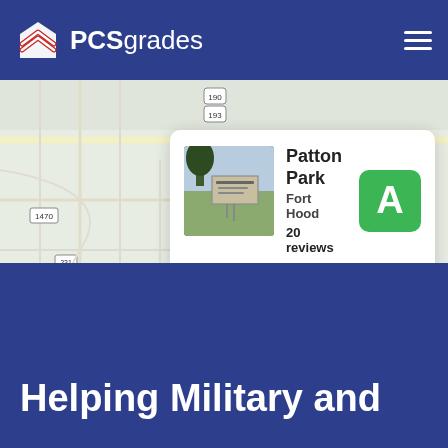[Figure (logo): PCSgrades logo with house/shield icon in white and red on dark blue header background, with hamburger menu icon on right]
[Figure (screenshot): Screenshot of PCSgrades website showing a map of Fort Hood area with a card overlay for Patton Park neighborhood. Card shows photo of neighborhood sign, 'Patton Park' title, 'Fort Hood' subtitle, '20 reviews', grade 'A' in green box, quote 'I love New Patton. The houses are great and loads of kids. I feel completely safe here!' attributed to Amy R. | Army Spouse, 7 PCS'es]
Helping Military and